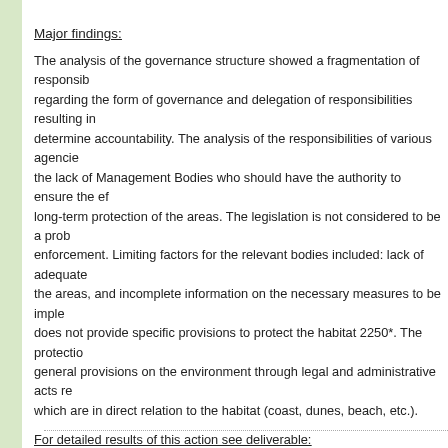Major findings:
The analysis of the governance structure showed a fragmentation of responsibilities regarding the form of governance and delegation of responsibilities resulting in difficulty to determine accountability. The analysis of the responsibilities of various agencies revealed the lack of Management Bodies who should have the authority to ensure the effective long-term protection of the areas. The legislation is not considered to be a problem, but its enforcement. Limiting factors for the relevant bodies included: lack of adequate information on the areas, and incomplete information on the necessary measures to be implemented. Greek law does not provide specific provisions to protect the habitat 2250*. The protection relies on general provisions on the environment through legal and administrative acts related to land uses which are in direct relation to the habitat (coast, dunes, beach, etc.).
For detailed results of this action see deliverable:
D-A.9.1 Legal status of Habitat 2250* (In Greek with executive summary i
D-A.9.2 Determination of Governance structure (In Greek and English)